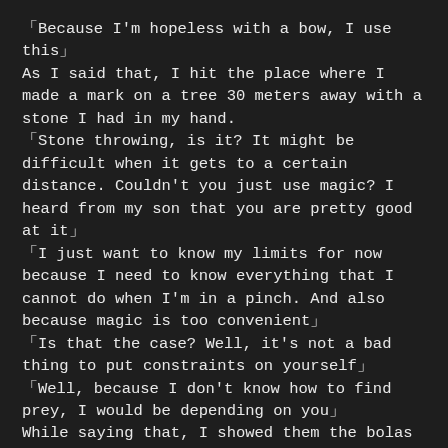「Because I'm hopeless with a bow, I use this」 As I said that, I hit the place where I made a mark on a tree 30 meters away with a stone I had in my hand. 「Stone throwing, is it? It might be difficult when it gets to a certain distance. Couldn't you just use magic? I heard from my son that you are pretty good at it」 「I just want to know my limits for now because I need to know everything that I cannot do when I'm in a pinch. And also because magic is too convenient」 「Is that the case? Well, it's not a bad thing to put constraints on yourself」 「Well, because I don't know how to find prey, I would be depending on you」 While saying that, I showed them the bolas and somai. 「Are these throwing tools…… I'll do as much as I can for my son's friend who taught him the trick to use magic」